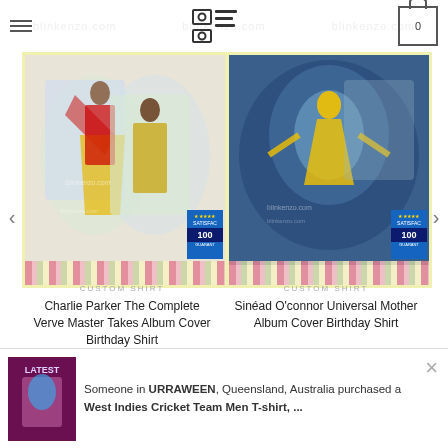Blinkenzo.com - Custom Shirts
[Figure (photo): Product image of Charlie Parker The Complete Verve Master Takes Album Cover Birthday Shirt]
CUSTOM SHIRT
Charlie Parker The Complete Verve Master Takes Album Cover Birthday Shirt
$29.99
[Figure (photo): Product image of Sinéad O'connor Universal Mother Album Cover Birthday Shirt]
CUSTOM SHIRT
Sinéad O'connor Universal Mother Album Cover Birthday Shirt
$29.99
Someone in URRAWEEN, Queensland, Australia purchased a
West Indies Cricket Team Men T-shirt, ...